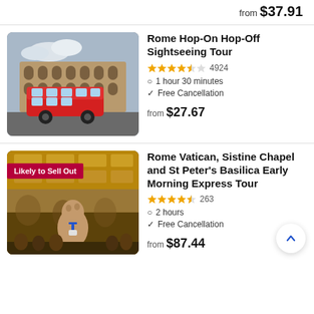from $37.91
Rome Hop-On Hop-Off Sightseeing Tour
4924 · 1 hour 30 minutes · Free Cancellation · from $27.67
[Figure (photo): Photo of the Colosseum in Rome with a red double-decker hop-on hop-off tour bus in front]
Rome Vatican, Sistine Chapel and St Peter's Basilica Early Morning Express Tour
263 · 2 hours · Free Cancellation · from $87.44
[Figure (photo): Photo of a man looking up inside the Vatican Museums, ornate golden ceiling visible. Badge says 'Likely to Sell Out']